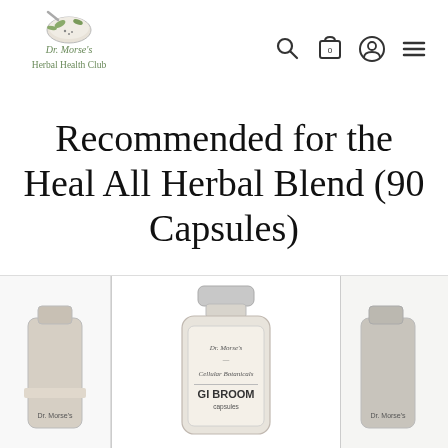[Figure (logo): Dr. Morse's Herbal Health Club logo with mortar and pestle icon and text]
[Figure (infographic): Navigation icons: search magnifying glass, shopping cart with 0, user profile circle, hamburger menu]
Recommended for the Heal All Herbal Blend (90 Capsules)
[Figure (photo): Three product cards visible: left partial product bottle, center GI Broom capsules bottle by Dr. Morse's, right partial product bottle]